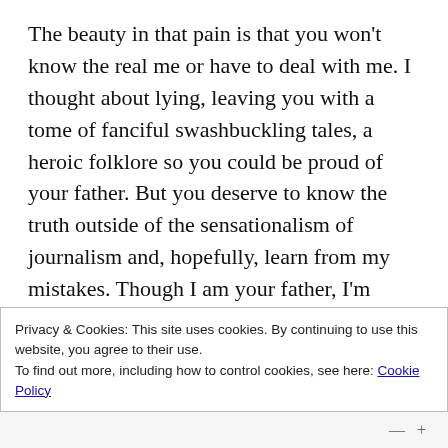The beauty in that pain is that you won't know the real me or have to deal with me. I thought about lying, leaving you with a tome of fanciful swashbuckling tales, a heroic folklore so you could be proud of your father. But you deserve to know the truth outside of the sensationalism of journalism and, hopefully, learn from my mistakes. Though I am your father, I'm afraid that is one of the very few mistakes I made that I don't regret. As you have probably learned from your mother, I am–was not a
Privacy & Cookies: This site uses cookies. By continuing to use this website, you agree to their use.
To find out more, including how to control cookies, see here: Cookie Policy
Close and accept